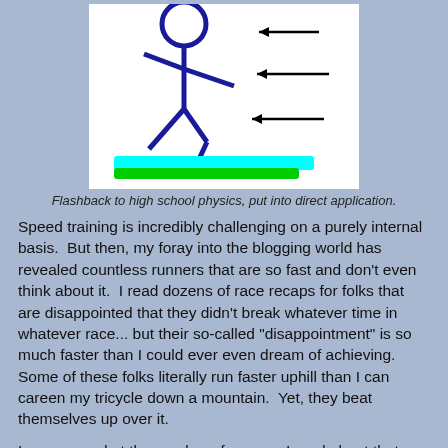[Figure (illustration): A stick figure running to the left with three black arrows pointing left (wind/force arrows) and a cyan and green ground stripe beneath the figure.]
Flashback to high school physics, put into direct application.
Speed training is incredibly challenging on a purely internal basis.  But then, my foray into the blogging world has revealed countless runners that are so fast and don't even think about it.  I read dozens of race recaps for folks that are disappointed that they didn't break whatever time in whatever race... but their so-called "disappointment" is so much faster than I could ever even dream of achieving.  Some of these folks literally run faster uphill than I can careen my tricycle down a mountain.  Yet, they beat themselves up over it.
I am amazed at the number of runners I read about that place at races, whether overall or within their age groups, as